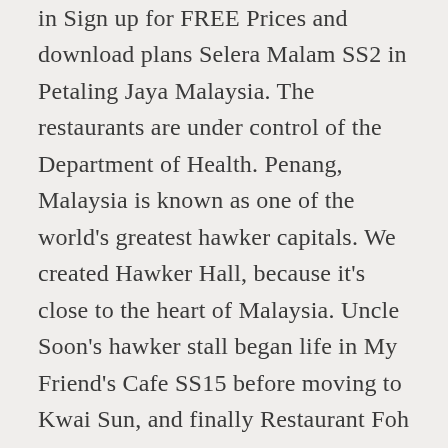in Sign up for FREE Prices and download plans Selera Malam SS2 in Petaling Jaya Malaysia. The restaurants are under control of the Department of Health. Penang, Malaysia is known as one of the world's greatest hawker capitals. We created Hawker Hall, because it's close to the heart of Malaysia. Uncle Soon's hawker stall began life in My Friend's Cafe SS15 before moving to Kwai Sun, and finally Restaurant Foh Foh SS15 in 2014. One of the oldest pisang goreng stalls in Kuala Lumpur, this stall uses whole pieces of pisang raja (instead of halved or thinly sliced bananas), dipped in a light and airy batter. But even heroes have a responsibility, which in this case,